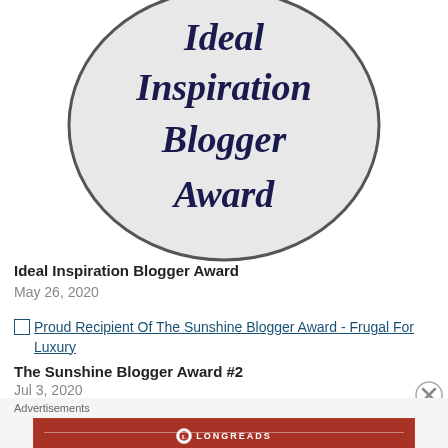[Figure (illustration): Oval badge/seal with light gray background and dark gray border. Contains italic bold dark navy text reading 'Ideal Inspiration Blogger Award' on multiple lines.]
Ideal Inspiration Blogger Award
May 26, 2020
[Figure (illustration): Broken image icon placeholder for 'Proud Recipient Of The Sunshine Blogger Award - Frugal For Luxury' link with underlined hyperlink text.]
The Sunshine Blogger Award #2
Jul 3, 2020
Advertisements
[Figure (logo): Longreads advertisement banner in dark red/crimson. Logo circle at top center with 'LONGREADS' text. Tagline: 'The best stories on the web — ours, and everyone else's.']